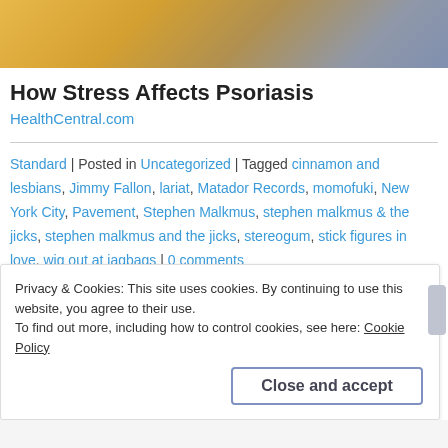[Figure (photo): Top portion of a photo showing a person in yellow clothing, cropped at the torso/feet area]
How Stress Affects Psoriasis
HealthCentral.com
Standard | Posted in Uncategorized | Tagged cinnamon and lesbians, Jimmy Fallon, lariat, Matador Records, momofuki, New York City, Pavement, Stephen Malkmus, stephen malkmus & the jicks, stephen malkmus and the jicks, stereogum, stick figures in love, wig out at jagbags | 0 comments
Privacy & Cookies: This site uses cookies. By continuing to use this website, you agree to their use.
To find out more, including how to control cookies, see here: Cookie Policy
Close and accept